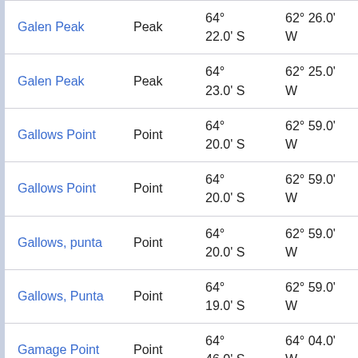| Name | Type | Latitude | Longitude | Other |
| --- | --- | --- | --- | --- |
| Galen Peak | Peak | 64° 22.0' S | 62° 26.0' W | 46. at 4 |
| Galen Peak | Peak | 64° 23.0' S | 62° 25.0' W | 46. at 4 |
| Gallows Point | Point | 64° 20.0' S | 62° 59.0' W | 37. at 1 |
| Gallows Point | Point | 64° 20.0' S | 62° 59.0' W | 37. at 1 |
| Gallows, punta | Point | 64° 20.0' S | 62° 59.0' W | 37. at 1 |
| Gallows, Punta | Point | 64° 19.0' S | 62° 59.0' W | 39. at 9 |
| Gamage Point | Point | 64° 46.0' S | 64° 04.0' W | 46. at 2 |
| Gamage Point | Point | 64° 46.0' S | 64° 04.0' W | 46. at 4 |